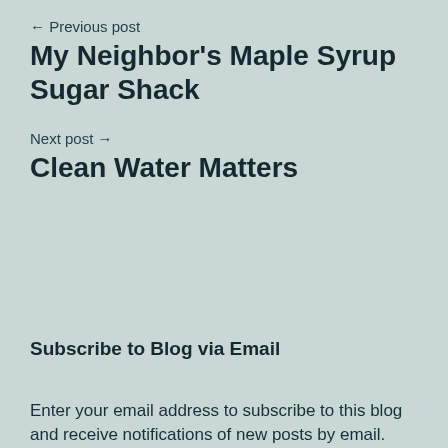← Previous post
My Neighbor's Maple Syrup Sugar Shack
Next post →
Clean Water Matters
Subscribe to Blog via Email
Enter your email address to subscribe to this blog and receive notifications of new posts by email.